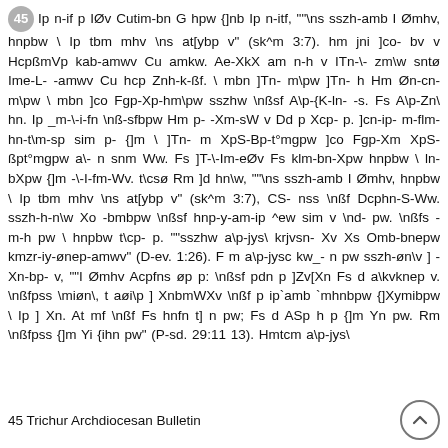45 Ip n-if p IØv Cutim-bn G hpw {]nb Ip n-itf, ""\ns sszh-amb I Ømhv, hnpbw \ Ip tbm mhv \ns at[ybp v" (sk^m 3:7). hm jni ]co- bv v HcpßmVp kab-amwv Cu amkw. Ae-XkX am n-h v ITn-\- zm\w sntø Ime-L- -amwv Cu hcp Znh-k-ßf. \ mbn ]Tn- m\pw ]Tn- h Hm Øn-cn- m\pw \ mbn ]co Fgp-Xp-hm\pw sszhw \nßsf A\p-{K-ln- -s. Fs A\p-Zn\ hn. Ip _m-\-i-fn \nß-sfbpw Hm p- -Xm-sW v Dd p Xcp- p. ]cn-ip- m-flm-hn-t\m-sp sim p- {]m \ ]Tn- m XpS-Bp-t°mgpw ]co Fgp-Xm XpS-ßpt°mgpw a\- n snm Ww. Fs ]T-\-Im-eØv Fs klm-bn-Xpw hnpbw \ ln-bXpw {]m -\-I-fm-Wv. t\csø Rm ]d hn\w, ""\ns sszh-amb I Ømhv, hnpbw \ Ip tbm mhv \ns at[ybp v" (sk^m 3:7), CS- nss \nßf Dcphn-S-Ww. sszh-h-n\w Xo -bmbpw \nßsf hnp-b-am-ip ^ew sim v \nd- pw. \nßfs - m-h pw \ hnpbw t\cp- p. ""sszhw a\p-jys\ krjvsn- Xv Xs Omb-bnepw kmzr-iy-ønep-amwv" (D-ev. 1:26). F m a\p-jysc kw_- n pw sszh-øn\v ] -Xn-bp- v, ""I Ømhv Acpfns øp p: \nßsf pdn p ]Zv[Xn Fs d a\kvknep v. \nßfpss \miøn\, t aøn\p ] XnbmWXv \nßf p ip`amb `mhnbpw {]Xymibpw \ Ip ] Xn. At mf \nßf Fs hnfn t] n pw; Fs d ASp h p {]m Yn pw. Rm \nßfpss {]m Yi {ihn pw" (P-sd. 29:11 13). Hmtcm a\p-jys\
45 Trichur Archdiocesan Bulletin